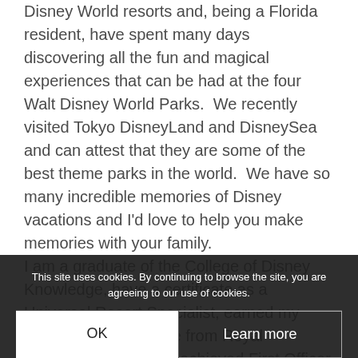Disney World resorts and, being a Florida resident, have spent many days discovering all the fun and magical experiences that can be had at the four Walt Disney World Parks.  We recently visited Tokyo DisneyLand and DisneySea and can attest that they are some of the best theme parks in the world.  We have so many incredible memories of Disney vacations and I'd love to help you make memories with your family.
I am a graduate of the College of Disney Knowledge, have a certificate as a Universal Resort Specialist, earned my Bachelor of Adventure from Royal Caribbean University, achieved First Officer rank at Pi... my for Princess Cruise Lines.
Contact me today to start the journey of planning
This site uses cookies. By continuing to browse the site, you are agreeing to our use of cookies.